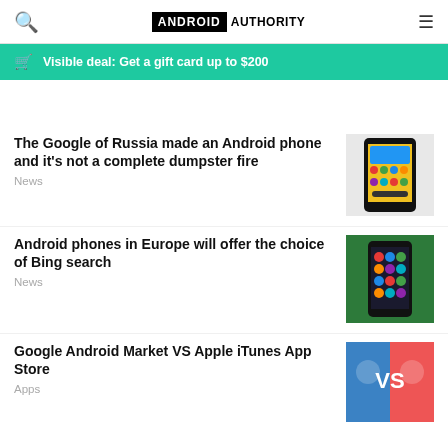Android Authority
Visible deal: Get a gift card up to $200
The Google of Russia made an Android phone and it's not a complete dumpster fire
News
Android phones in Europe will offer the choice of Bing search
News
Google Android Market VS Apple iTunes App Store
Apps